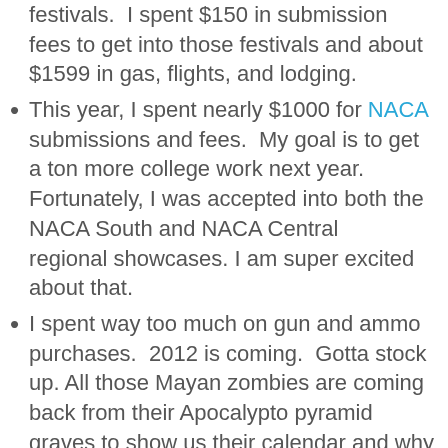festivals.  I spent $150 in submission fees to get into those festivals and about $1599 in gas, flights, and lodging.
This year, I spent nearly $1000 for NACA submissions and fees.  My goal is to get a ton more college work next year.  Fortunately, I was accepted into both the NACA South and NACA Central   regional showcases. I am super excited about that.
I spent way too much on gun and ammo purchases.  2012 is coming.  Gotta stock up. All those Mayan zombies are coming back from their Apocalypto pyramid graves to show us their calendar and why it is accurate.
I am bad with money.
I keep booking myself at all 4 corners of the map and gas prices are astronomical.
Believe it or not, I have taken a few gigs where I got underpaid.  I never use low money as an